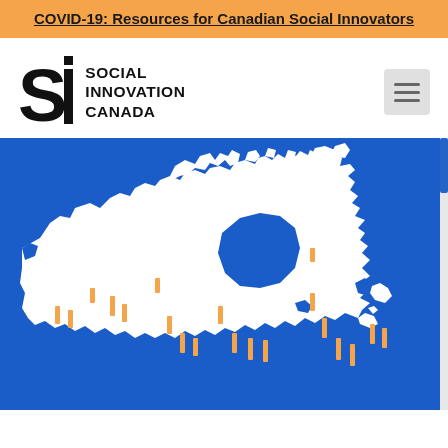COVID-19: Resources for Canadian Social Innovators
[Figure (logo): Social Innovation Canada logo — large SI letterform with vertical bar, beside stacked text reading SOCIAL INNOVATION CANADA]
[Figure (map): Map of Canada with white silhouette on blue background, with orange pin/location markers scattered across provinces indicating social innovation locations]